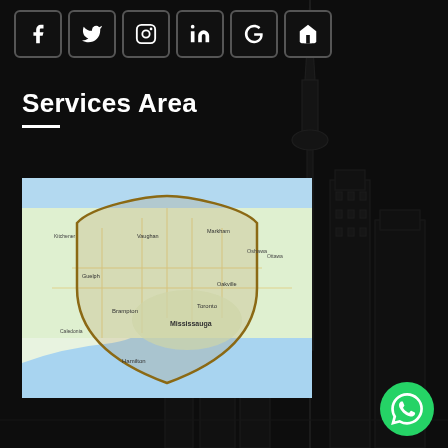Social media icons: Facebook, Twitter, Instagram, LinkedIn, Google, Home
Services Area
[Figure (map): A Google Maps view of the Greater Toronto Area (GTA) including Mississauga, Toronto, Oakville, Brampton, Hamilton and surrounding regions, overlaid with a shield/crest shaped boundary outline in dark gold/brown color indicating the service area.]
[Figure (logo): Green circular WhatsApp button icon in bottom right corner]